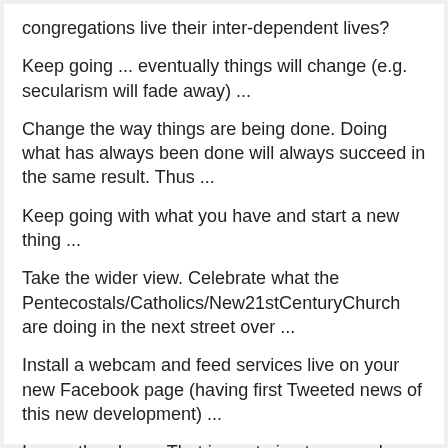congregations live their inter-dependent lives?
Keep going ... eventually things will change (e.g. secularism will fade away) ...
Change the way things are being done. Doing what has always been done will always succeed in the same result. Thus ...
Keep going with what you have and start a new thing ...
Take the wider view. Celebrate what the Pentecostals/Catholics/New21stCenturyChurch are doing in the next street over ...
Install a webcam and feed services live on your new Facebook page (having first Tweeted news of this new development) ...
Ignore the above. That is me trying to second guess (again!) what the Spirit is saying to the church. But do not ignore the Spirit.